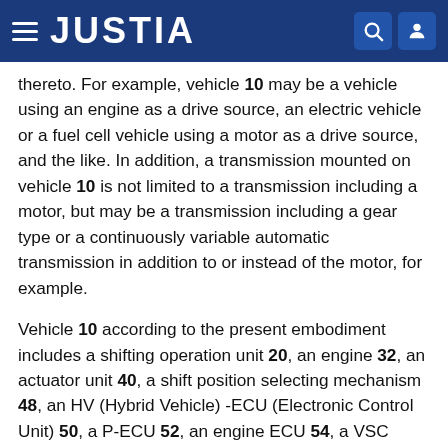JUSTIA
thereto. For example, vehicle 10 may be a vehicle using an engine as a drive source, an electric vehicle or a fuel cell vehicle using a motor as a drive source, and the like. In addition, a transmission mounted on vehicle 10 is not limited to a transmission including a motor, but may be a transmission including a gear type or a continuously variable automatic transmission in addition to or instead of the motor, for example.
Vehicle 10 according to the present embodiment includes a shifting operation unit 20, an engine 32, an actuator unit 40, a shift position selecting mechanism 48, an HV (Hybrid Vehicle) -ECU (Electronic Control Unit) 50, a P-ECU 52, an engine ECU 54, a VSC (Vehicle Stability Control) -ECU 56, a meter 58, a PM-ECU 60, a start switch 62, a wheel speed sensor 64, a power supply relay 66, a brake device 72, a drive wheel 74, a transmission 82, and